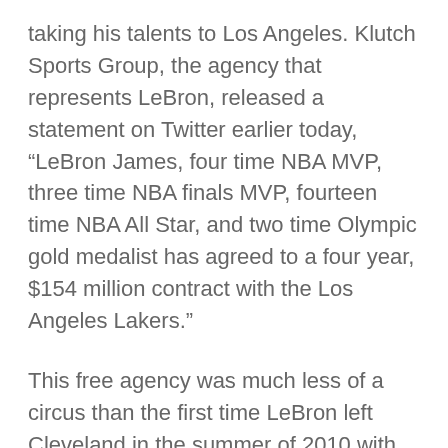taking his talents to Los Angeles. Klutch Sports Group, the agency that represents LeBron, released a statement on Twitter earlier today, “LeBron James, four time NBA MVP, three time NBA finals MVP, fourteen time NBA All Star, and two time Olympic gold medalist has agreed to a four year, $154 million contract with the Los Angeles Lakers.”
This free agency was much less of a circus than the first time LeBron left Cleveland in the summer of 2010 with “The Decision”. This time there was no hour TV special with Jim Gray that sent the entire city of Cleveland into a whirlwind. This was something that LeBron obviously knew he wanted to do and there was no point in putting anyone